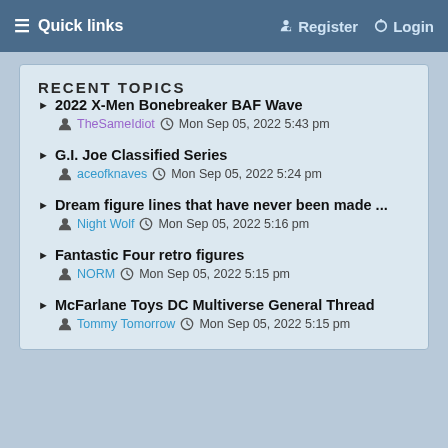≡ Quick links   🔍 Register   ⏻ Login
RECENT TOPICS
2022 X-Men Bonebreaker BAF Wave — TheSameIdiot  Mon Sep 05, 2022 5:43 pm
G.I. Joe Classified Series — aceofknaves  Mon Sep 05, 2022 5:24 pm
Dream figure lines that have never been made ... — Night Wolf  Mon Sep 05, 2022 5:16 pm
Fantastic Four retro figures — NORM  Mon Sep 05, 2022 5:15 pm
McFarlane Toys DC Multiverse General Thread — Tommy Tomorrow  Mon Sep 05, 2022 5:15 pm